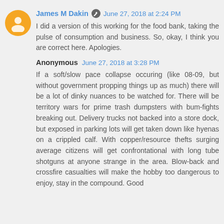James M Dakin  June 27, 2018 at 2:24 PM
I did a version of this working for the food bank, taking the pulse of consumption and business. So, okay, I think you are correct here. Apologies.
Anonymous  June 27, 2018 at 3:28 PM
If a soft/slow pace collapse occuring (like 08-09, but without government propping things up as much) there will be a lot of dinky nuances to be watched for. There will be territory wars for prime trash dumpsters with bum-fights breaking out. Delivery trucks not backed into a store dock, but exposed in parking lots will get taken down like hyenas on a crippled calf. With copper/resource thefts surging average citizens will get confrontational with long tube shotguns at anyone strange in the area. Blow-back and crossfire casualties will make the hobby too dangerous to enjoy, stay in the compound. Good